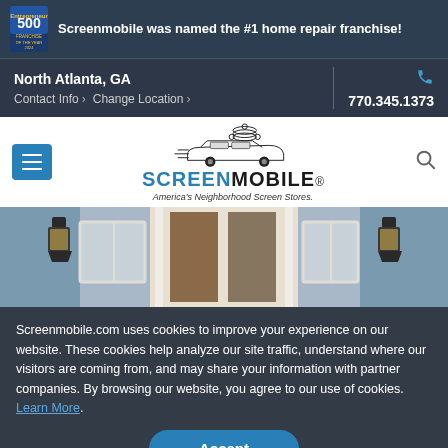Screenmobile was named the #1 home repair franchise!
North Atlanta, GA
Contact Info › Change Location ›
770.345.1373
[Figure (logo): Screenmobile logo with van graphic and tagline America's Neighborhood Screen Stores]
[Figure (photo): Exterior photo showing a home entrance with lantern lights and screened door]
Screenmobile.com uses cookies to improve your experience on our website. These cookies help analyze our site traffic, understand where our visitors are coming from, and may share your information with partner companies. By browsing our website, you agree to our use of cookies. Learn More.
Accept